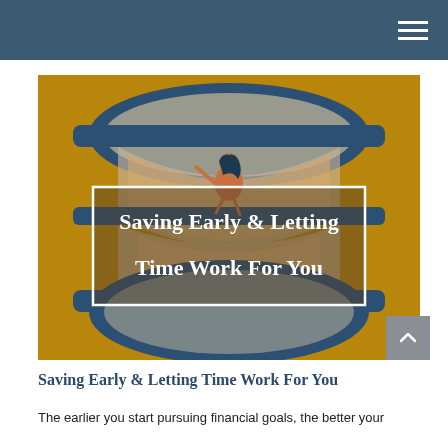[Figure (illustration): An illustrated hourglass with a woman figure inside, on a golden-amber background. A white-bordered rectangle overlays the center with the title text 'Saving Early & Letting Time Work For You' in white serif font.]
Saving Early & Letting Time Work For You
The earlier you start pursuing financial goals, the better your